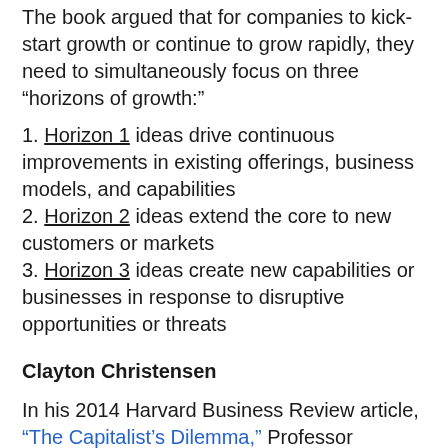The book argued that for companies to kick-start growth or continue to grow rapidly, they need to simultaneously focus on three “horizons of growth:”
1. Horizon 1 ideas drive continuous improvements in existing offerings, business models, and capabilities
2. Horizon 2 ideas extend the core to new customers or markets
3. Horizon 3 ideas create new capabilities or businesses in response to disruptive opportunities or threats
Clayton Christensen
In his 2014 Harvard Business Review article, “The Capitalist’s Dilemma,” Professor Christensen wrote that the terms he famously coined, “disruptive” and “sustaining” innovation